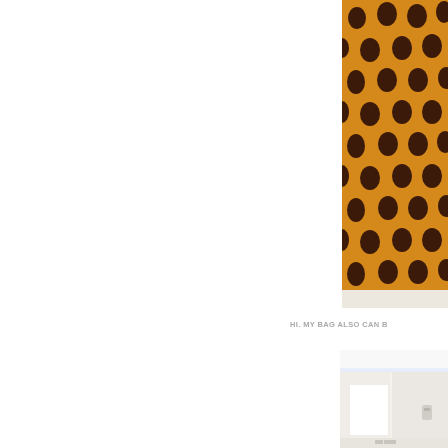[Figure (photo): Close-up of orange/amber fabric or garment with large dark brown polka dots pattern, draped against a white background]
HI. MY BAG ALSO CAN B
[Figure (photo): Interior room or space with white surfaces, LED strip lighting on ceiling, and what appears to be white furniture or shelving]